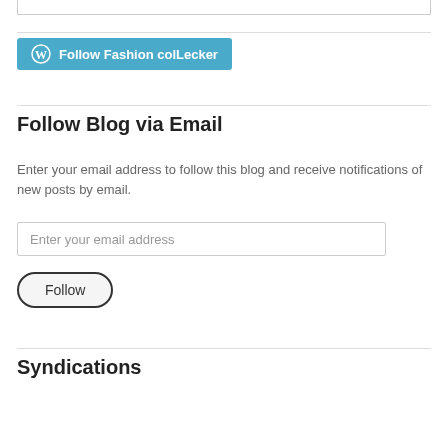[Figure (other): WordPress Follow button widget top border box]
[Figure (other): Teal WordPress Follow button reading 'Follow Fashion colLecker' with WordPress logo icon]
Follow Blog via Email
Enter your email address to follow this blog and receive notifications of new posts by email.
[Figure (other): Email input field with placeholder text 'Enter your email address']
[Figure (other): Follow button with rounded border]
Syndications
BloggingSL